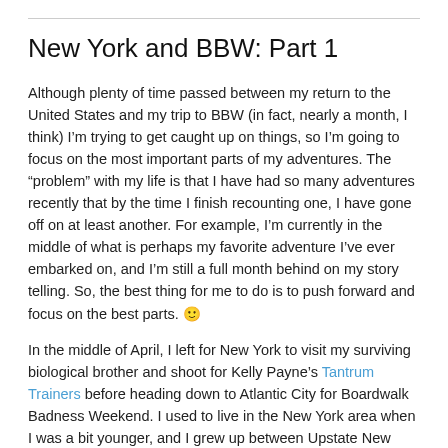New York and BBW: Part 1
Although plenty of time passed between my return to the United States and my trip to BBW (in fact, nearly a month, I think) I'm trying to get caught up on things, so I'm going to focus on the most important parts of my adventures. The “problem” with my life is that I have had so many adventures recently that by the time I finish recounting one, I have gone off on at least another. For example, I’m currently in the middle of what is perhaps my favorite adventure I’ve ever embarked on, and I’m still a full month behind on my story telling. So, the best thing for me to do is to push forward and focus on the best parts. 🙂
In the middle of April, I left for New York to visit my surviving biological brother and shoot for Kelly Payne’s Tantrum Trainers before heading down to Atlantic City for Boardwalk Badness Weekend. I used to live in the New York area when I was a bit younger, and I grew up between Upstate New York and Southern New Jersey, so both places were a bit of a homecoming. My New York schedule was very tight packed indeed, and I didn’t really do a lot of socializing or visiting except with my brother. The most important thing that I did in New York was eat pizza. I did this literally every day that I was there. Growing up with the